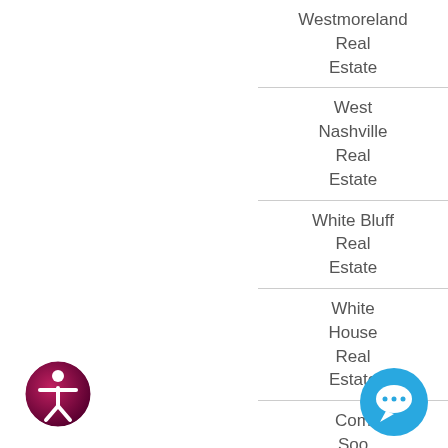Westmoreland Real Estate
West Nashville Real Estate
White Bluff Real Estate
White House Real Estate
Coming Soon Listings
[Figure (illustration): Accessibility icon - circular badge with person figure, dark pink/maroon gradient]
[Figure (illustration): Chat/message support icon - blue circle with speech bubble symbol]